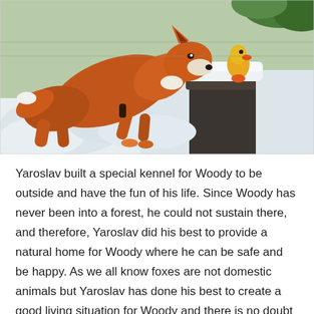[Figure (photo): A red fox leaning over a snow-covered log, sniffing a small yellow rubber duck toy with an orange base. The fox is mid-step in a snowy outdoor enclosure.]
Yaroslav built a special kennel for Woody to be outside and have the fun of his life. Since Woody has never been into a forest, he could not sustain there, and therefore, Yaroslav did his best to provide a natural home for Woody where he can be safe and be happy. As we all know foxes are not domestic animals but Yaroslav has done his best to create a good living situation for Woody and there is no doubt that Woody also enjoys being with him.